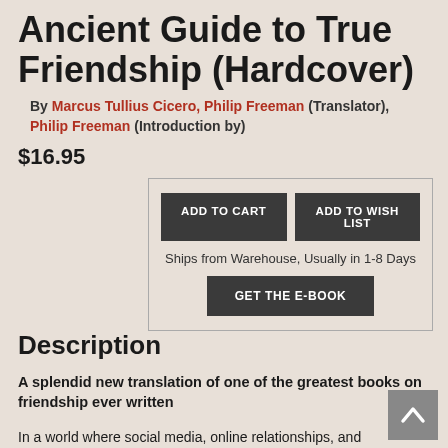Ancient Guide to True Friendship (Hardcover)
By Marcus Tullius Cicero, Philip Freeman (Translator), Philip Freeman (Introduction by)
$16.95
ADD TO CART
ADD TO WISH LIST
Ships from Warehouse, Usually in 1-8 Days
GET THE E-BOOK
Description
A splendid new translation of one of the greatest books on friendship ever written
In a world where social media, online relationships, and